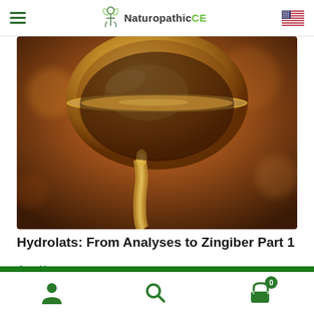NaturopathicCE
[Figure (photo): Close-up photo of golden/amber liquid being poured from a metallic vessel, with warm brown tones and a bokeh background]
Hydrolats: From Analyses to Zingiber Part 1
Ann Harman
ADD TO CART
Bottom navigation bar with user, search, and cart icons